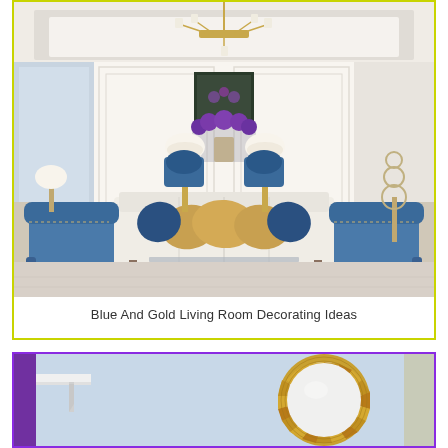[Figure (photo): Elegant blue and gold living room with white sofas, blue velvet accent chairs with nail head trim, gold throw pillows, blue decorative pillows, a geometric blue and white area rug, crystal chandelier, white table lamps, and purple floral arrangement on a console table in the background. Room features white paneled walls and marble flooring.]
Blue And Gold Living Room Decorating Ideas
[Figure (photo): Partial view of a decorative sunburst mirror with gold mosaic tile frame, shown against a light blue background with a white shelf or ledge visible on the left side. Purple border visible on the left edge.]